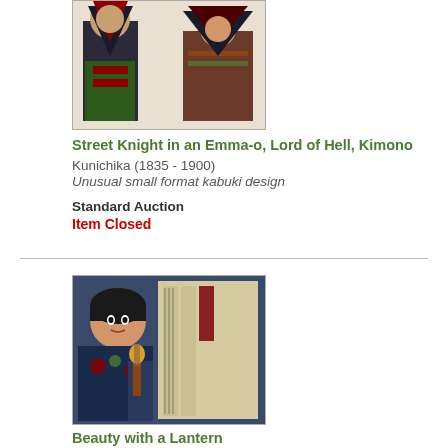[Figure (illustration): Japanese woodblock print showing a street knight figure in an Emma-o Lord of Hell Kimono costume, with dramatic colors]
Street Knight in an Emma-o, Lord of Hell, Kimono
Kunichika (1835 - 1900)
Unusual small format kabuki design
Standard Auction
Item Closed
[Figure (illustration): Japanese woodblock print depicting a kabuki actor holding a lantern, with traditional costume and hair styling]
Beauty with a Lantern
Kunichika (1835 - 1900)
Unusual small format kabuki design